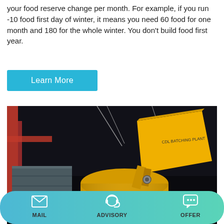your food reserve change per month. For example, if you run -10 food first day of winter, it means you need 60 food for one month and 180 for the whole winter. You don't build food first year.
Learn More
[Figure (photo): Night-time photograph of a large yellow concrete mixer labeled JS750 being lifted by a crane and loaded into a shipping container, with workers visible below guiding the equipment.]
MAIL  ADVISORY  OFFER